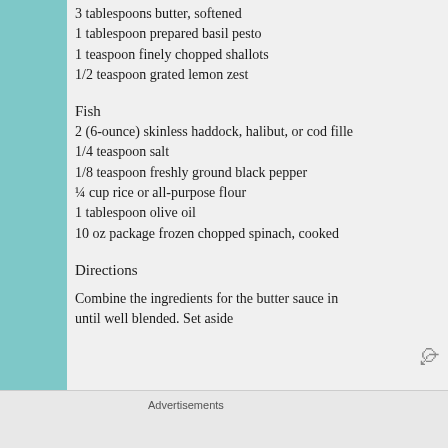3 tablespoons butter, softened
1 tablespoon prepared basil pesto
1 teaspoon finely chopped shallots
1/2 teaspoon grated lemon zest
Fish
2 (6-ounce) skinless haddock, halibut, or cod fille
1/4 teaspoon salt
1/8 teaspoon freshly ground black pepper
¼ cup rice or all-purpose flour
1 tablespoon olive oil
10 oz package frozen chopped spinach, cooked
Directions
Combine the ingredients for the butter sauce in until well blended. Set aside
Advertisements